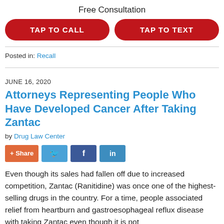Free Consultation
[Figure (infographic): Two red rounded-rectangle call-to-action buttons: TAP TO CALL (left) and TAP TO TEXT (right)]
Posted in: Recall
JUNE 16, 2020
Attorneys Representing People Who Have Developed Cancer After Taking Zantac
by Drug Law Center
[Figure (infographic): Social share buttons: + Share (orange), Twitter bird icon (blue), Facebook f icon (dark blue), LinkedIn in icon (light blue)]
Even though its sales had fallen off due to increased competition, Zantac (Ranitidine) was once one of the highest-selling drugs in the country. For a time, people associated relief from heartburn and gastroesophageal reflux disease with taking Zantac even though it is not